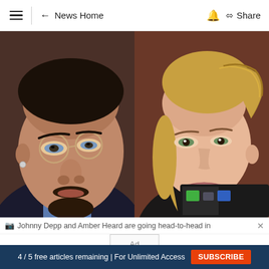News Home  Share
[Figure (photo): Side-by-side courtroom photo of Johnny Depp (left, wearing glasses and blue shirt with dark tie) and Amber Heard (right, blonde hair in braid, looking forward), taken during their defamation trial.]
Johnny Depp and Amber Heard are going head-to-head in...
Ad
4 / 5 free articles remaining | For Unlimited Access  SUBSCRIBE